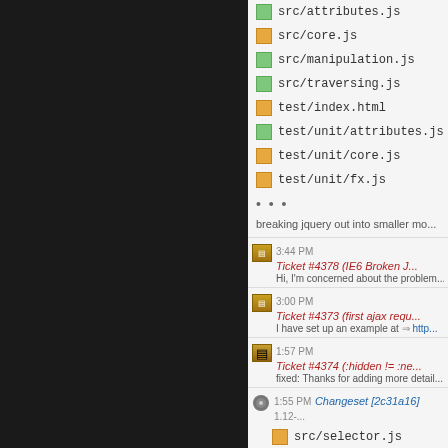[Figure (screenshot): Dark left panel of a web UI (likely a code repository or trac interface)]
src/attributes.js
src/core.js
src/manipulation.js
src/traversing.js
test/index.html
test/unit/attributes.js
test/unit/core.js
test/unit/fx.js
...
breaking jquery out into smaller mo...
3:44 PM Ticket #4378 (IE6 Broken J...
Hi, I'm concerned about the problem...
3:00 PM Ticket #4373 (first ajax requ...
I have set up an example at http...
1:57 PM Ticket #4374 (:hidden != :ne...
fixed: Thanks for adding more detail...
1:55 PM Changeset [2c31a16] 1.12-...
src/selector.js
test/unit/selector.js
fix for #4374, gap in :hidden, :visible...
1:00 PM Ticket #4377 (find('select'...